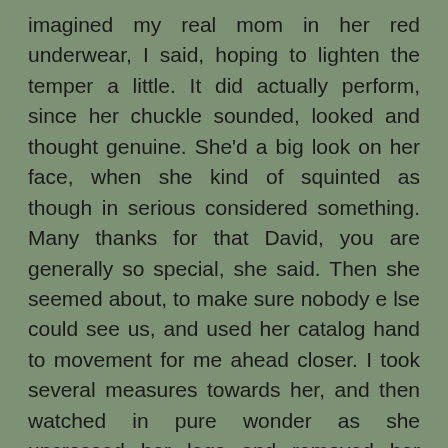imagined my real mom in her red underwear, I said, hoping to lighten the temper a little. It did actually perform, since her chuckle sounded, looked and thought genuine. She'd a big look on her face, when she kind of squinted as though in serious considered something. Many thanks for that David, you are generally so special, she said. Then she seemed about, to make sure nobody e lse could see us, and used her catalog hand to movement for me ahead closer. I took several measures towards her, and then watched in pure wonder as she uncrossed her legs and removed her skirt. I'd a great see of her wonderful tan feet, and sure enough, her vivid red panties. Free Sex Webcam Sites  My eyes required been going to bulge out of the sockets, since I could not feel what I was seeing. Correct when I started to slim in actually deeper, for an even better look, she pushed her top right back down. Ok Mark, that has been merely to thank you if you are so sweet. Now we both greater get back to work. Thanks for trying to make my time greater nevertheless, she claimed as she turned her chair back toward her desk. I must have stood there for an entire minute in complete shock. My mind was race, thinking about the number of choices of what only happened. Should I just go back to my desk? Should I